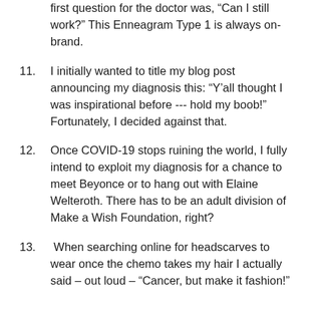first question for the doctor was, “Can I still work?” This Enneagram Type 1 is always on-brand.
11. I initially wanted to title my blog post announcing my diagnosis this: “Y’all thought I was inspirational before --- hold my boob!” Fortunately, I decided against that.
12. Once COVID-19 stops ruining the world, I fully intend to exploit my diagnosis for a chance to meet Beyonce or to hang out with Elaine Welteroth. There has to be an adult division of Make a Wish Foundation, right?
13. When searching online for headscarves to wear once the chemo takes my hair I actually said – out loud – “Cancer, but make it fashion!”